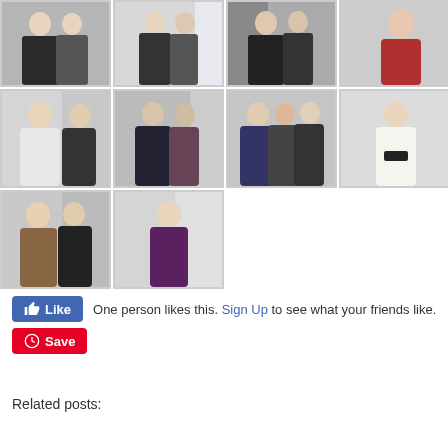[Figure (photo): Grid of 10 photos showing people in a retail/cosmetics store setting, wearing various outfits. Row 1: 4 photos. Row 2: 4 photos. Row 3: 2 photos.]
One person likes this. Sign Up to see what your friends like.
Related posts: